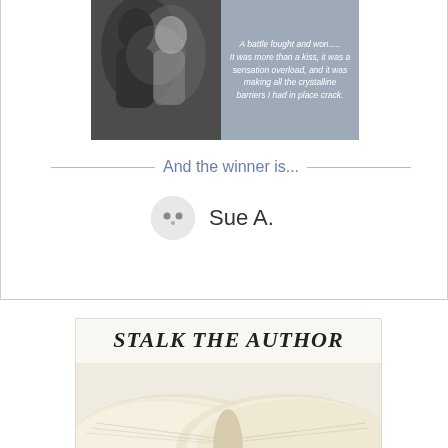[Figure (illustration): Book cover image split in two: left half shows a blurred couple (dark silhouettes), right half is a gray panel with italic white quote text reading: 'A battle fought and won..... It was more than a kiss, it was a sensation overload, and it was making all the crystalline barriers I had in place crack.']
And the winner is...
[Figure (illustration): Circular avatar icon with two dot eyes on a light gray background, next to winner name 'Sue A.']
Sue A.
[Figure (illustration): Banner image showing an open book with fanned pages, with the text 'STALK THE AUTHOR' in italic bold serif font overlaid on top]